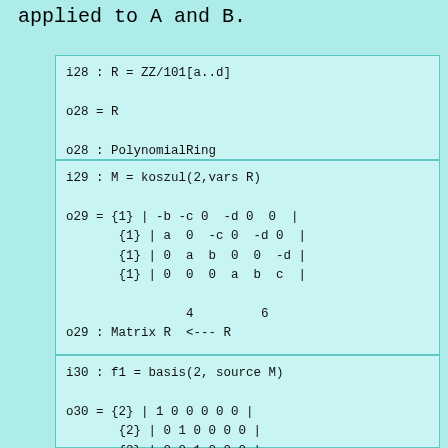applied to A and B.
i28 : R = ZZ/101[a..d]

o28 = R

o28 : PolynomialRing
i29 : M = koszul(2,vars R)

o29 = {1} | -b -c 0  -d 0  0  |
       {1} | a  0  -c 0  -d 0  |
       {1} | 0  a  b  0  0  -d |
       {1} | 0  0  0  a  b  c  |

                4         6
o29 : Matrix R  <--- R
i30 : f1 = basis(2, source M)

o30 = {2} | 1 0 0 0 0 0 |
       {2} | 0 1 0 0 0 0 |
       {2} | 0 0 1 0 0 0 |
       {2} | 0 0 0 1 0 0 |
       {2} | 0 0 0 0 1 0 |